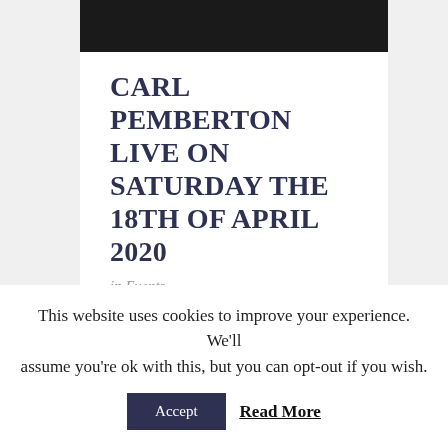[Figure (photo): Dark/black and white photo of a person, partially visible at the top of the page]
CARL PEMBERTON LIVE ON SATURDAY THE 18TH OF APRIL 2020
in Events
Live entertainment by Carl Pemberton Carl brings his vocal prowess to this intimate venue
This website uses cookies to improve your experience. We'll assume you're ok with this, but you can opt-out if you wish.
Accept
Read More